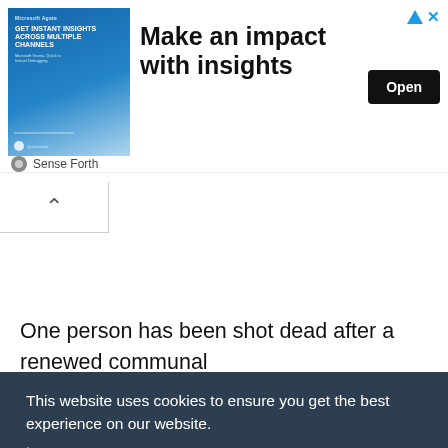[Figure (screenshot): Advertisement banner: image block on left with 'GET INSTANT INSIGHTS ACROSS MULTIPLE CHANNELS' text, center headline 'Make an impact with insights', right side has 'Open' button and close icons. Sense Forth branding below.]
Sense Forth
^
One person has been shot dead after a renewed communal na- kana
This website uses cookies to ensure you get the best experience on our website.
Learn more
Got it!